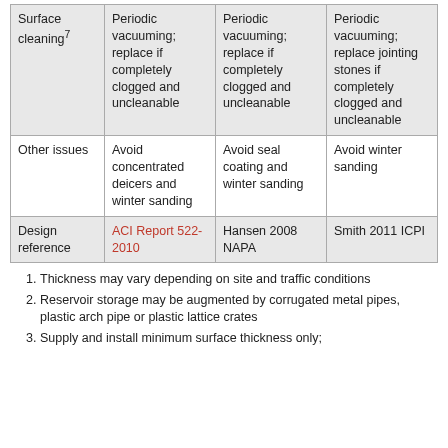| Surface cleaning⁷ | Periodic vacuuming; replace if completely clogged and uncleanable | Periodic vacuuming; replace if completely clogged and uncleanable | Periodic vacuuming; replace jointing stones if completely clogged and uncleanable |
| Other issues | Avoid concentrated deicers and winter sanding | Avoid seal coating and winter sanding | Avoid winter sanding |
| Design reference | ACI Report 522-2010 | Hansen 2008 NAPA | Smith 2011 ICPI |
Thickness may vary depending on site and traffic conditions
Reservoir storage may be augmented by corrugated metal pipes, plastic arch pipe or plastic lattice crates
Supply and install minimum surface thickness only;